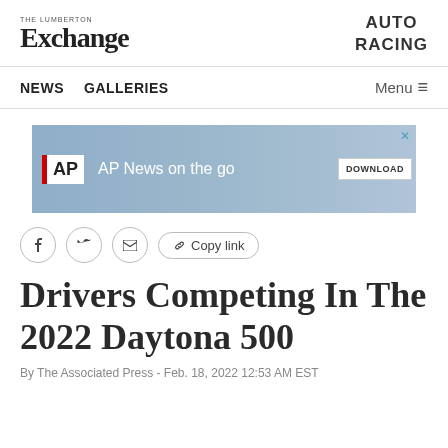THE LUMBERTON EXCHANGE — AUTO RACING
NEWS   GALLERIES   Menu
[Figure (screenshot): AP News on the go — DOWNLOAD advertisement banner with silhouetted photographers]
Facebook share   Twitter share   Email share   Copy link
Drivers Competing In The 2022 Daytona 500
By The Associated Press - Feb. 18, 2022 12:53 AM EST